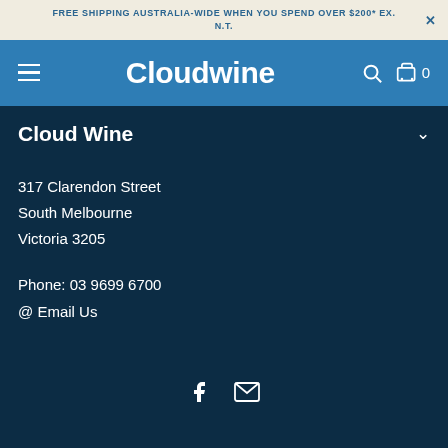FREE SHIPPING AUSTRALIA-WIDE WHEN YOU SPEND OVER $200* EX. N.T.
Cloudwine
Cloud Wine
317 Clarendon Street
South Melbourne
Victoria 3205
Phone: 03 9699 6700
@ Email Us